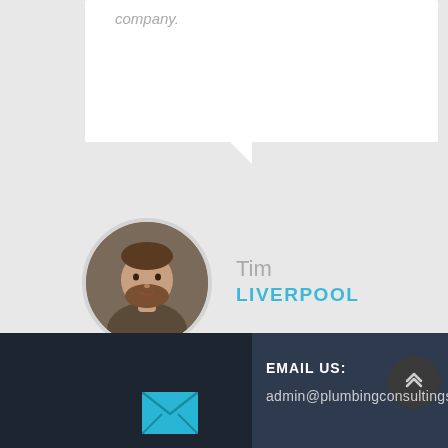company.
[Figure (photo): Circular avatar photo of a man with a beard, named Tim, from Liverpool]
Tim
LIVERPOOL
[Figure (illustration): Footer section with dark navy background, email envelope icon in cyan/teal, back-to-top button with chevrons]
EMAIL US:
admin@plumbingconsultingservices.